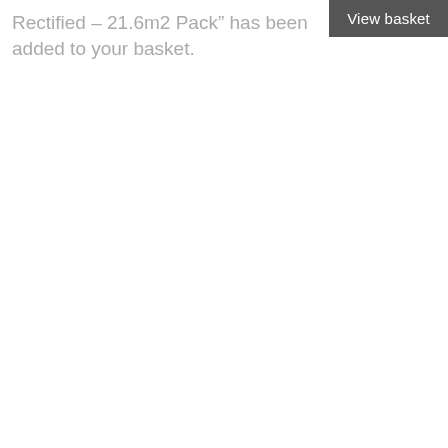Rectified – 21.6m2 Pack” has been added to your basket.
View basket